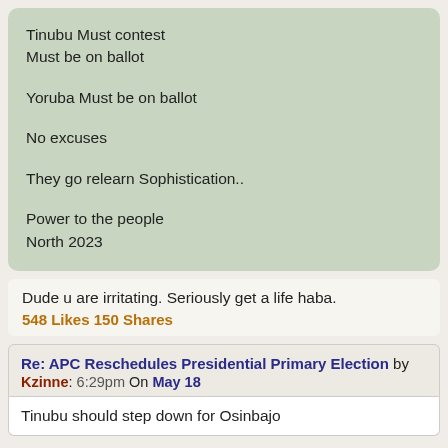Tinubu Must contest
Must be on ballot

Yoruba Must be on ballot

No excuses

They go relearn Sophistication..

Power to the people
North 2023
Dude u are irritating. Seriously get a life haba.
548 Likes 150 Shares
Re: APC Reschedules Presidential Primary Election by Kzinne: 6:29pm On May 18
Tinubu should step down for Osinbajo